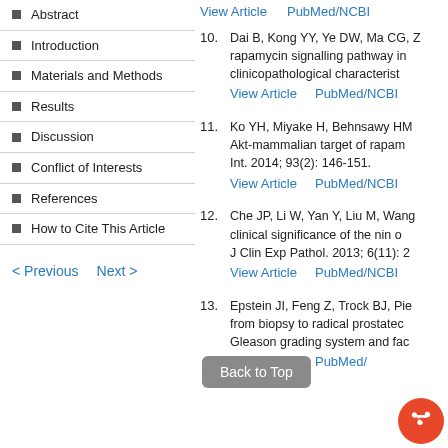Abstract
Introduction
Materials and Methods
Results
Discussion
Conflict of Interests
References
How to Cite This Article
< Previous   Next >
View Article   PubMed/NCBI
10. Dai B, Kong YY, Ye DW, Ma CG, Z... rapamycin signalling pathway in... clinicopathological characterist...
View Article   PubMed/NCBI
11. Ko YH, Miyake H, Behnsawy HM... Akt-mammalian target of rapam... Int. 2014; 93(2): 146-151.
View Article   PubMed/NCBI
12. Che JP, Li W, Yan Y, Liu M, Wang... clinical significance of the nin o... J Clin Exp Pathol. 2013; 6(11): 2...
View Article   PubMed/NCBI
Back to Top
13. Epstein JI, Feng Z, Trock BJ, Pie... from biopsy to radical prostatec... Gleason grading system and fac...
View Article   PubMed/...